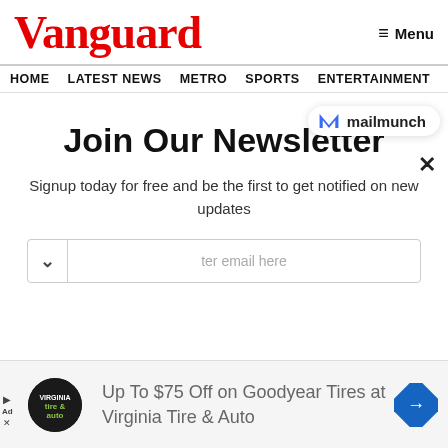Vanguard
≡ Menu
HOME  LATEST NEWS  METRO  SPORTS  ENTERTAINMENT  VIDEOS
[Figure (logo): Mailmunch badge with blue M logo and text mailmunch]
×
Join Our Newsletter
Signup today for free and be the first to get notified on new updates
ter email here
[Figure (other): Advertisement: Virginia Tire & Auto logo (circle with tire & auto text), text: Up To $75 Off on Goodyear Tires at Virginia Tire & Auto, blue diamond arrow icon]